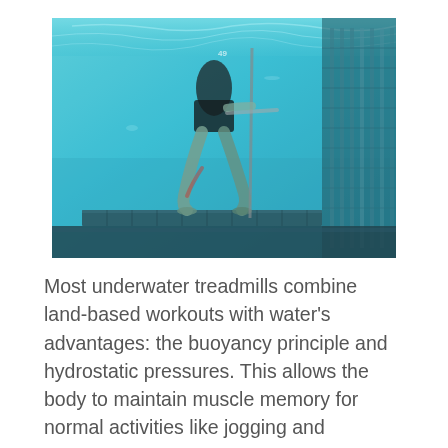[Figure (photo): Underwater photograph of a person using an underwater treadmill in a pool. The person's legs and lower body are visible walking on a submerged treadmill. The water is clear blue and the pool equipment/rails are visible on the right side.]
Most underwater treadmills combine land-based workouts with water's advantages: the buoyancy principle and hydrostatic pressures. This allows the body to maintain muscle memory for normal activities like jogging and